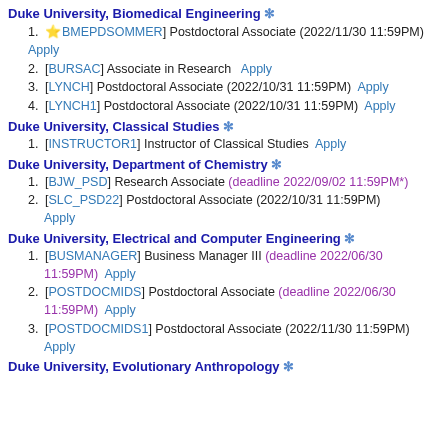Duke University, Biomedical Engineering ❄
⭐[BMEPDSOMMER] Postdoctoral Associate (2022/11/30 11:59PM) Apply
[BURSAC] Associate in Research Apply
[LYNCH] Postdoctoral Associate (2022/10/31 11:59PM) Apply
[LYNCH1] Postdoctoral Associate (2022/10/31 11:59PM) Apply
Duke University, Classical Studies ❄
[INSTRUCTOR1] Instructor of Classical Studies Apply
Duke University, Department of Chemistry ❄
[BJW_PSD] Research Associate (deadline 2022/09/02 11:59PM*)
[SLC_PSD22] Postdoctoral Associate (2022/10/31 11:59PM) Apply
Duke University, Electrical and Computer Engineering ❄
[BUSMANAGER] Business Manager III (deadline 2022/06/30 11:59PM) Apply
[POSTDOCMIDS] Postdoctoral Associate (deadline 2022/06/30 11:59PM) Apply
[POSTDOCMIDS1] Postdoctoral Associate (2022/11/30 11:59PM) Apply
Duke University, Evolutionary Anthropology ❄